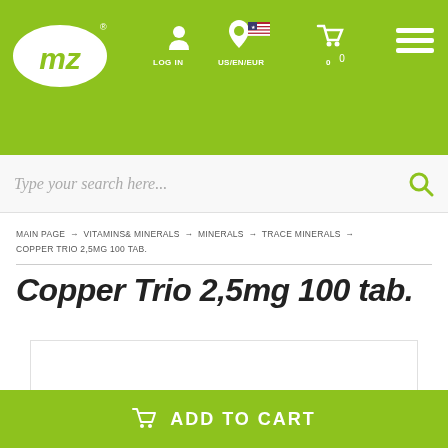MZ logo | LOG IN | US/EN/EUR | 0 | menu
Type your search here...
MAIN PAGE → VITAMINS & MINERALS → MINERALS → TRACE MINERALS → COPPER TRIO 2,5MG 100 TAB.
Copper Trio 2,5mg 100 tab.
[Figure (logo): Aliness health n beauty logo with oval black emblem and italic text]
ADD TO CART